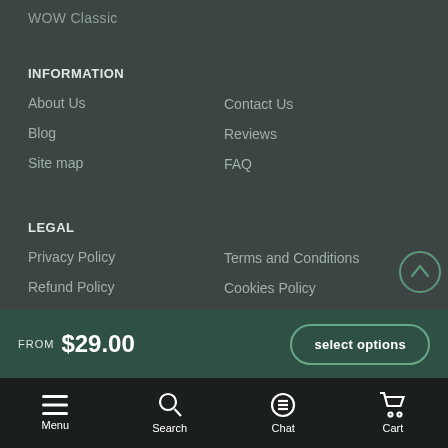WOW Classic
INFORMATION
About Us
Blog
Site map
Contact Us
Reviews
FAQ
LEGAL
Privacy Policy
Refund Policy
Terms and Conditions
Cookies Policy
[Figure (other): Circular scroll-to-top button with upward arrow]
FROM $29.00  select options
Menu  Search  Chat  Cart